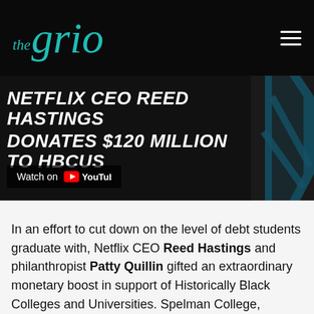the grio
[Figure (screenshot): YouTube video thumbnail showing text: NETFLIX CEO REED HASTINGS DONATES $120 MILLION TO HBCUS with Watch on YouTube button, dark background with blue accent graphics]
In an effort to cut down on the level of debt students graduate with, Netflix CEO Reed Hastings and philanthropist Patty Quillin gifted an extraordinary monetary boost in support of Historically Black Colleges and Universities. Spelman College, Morehouse College and the